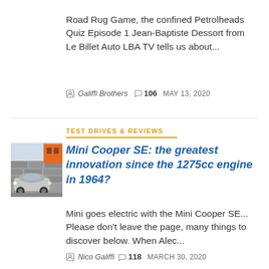Road Rug Game, the confined Petrolheads Quiz Episode 1 Jean-Baptiste Dessort from Le Billet Auto LBA TV tells us about...
Galiffi Brothers  106  MAY 13, 2020
TEST DRIVES & REVIEWS
Mini Cooper SE: the greatest innovation since the 1275cc engine in 1964?
[Figure (photo): Photo of a Mini Cooper SE electric car parked in front of a stone wall and an orange building]
Mini goes electric with the Mini Cooper SE... Please don't leave the page, many things to discover below. When Alec...
Nico Galiffi  118  MARCH 30, 2020